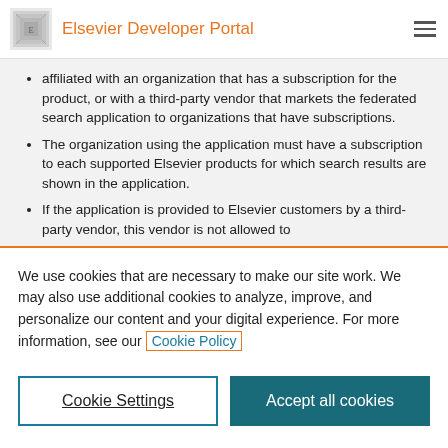Elsevier Developer Portal
affiliated with an organization that has a subscription for the product, or with a third-party vendor that markets the federated search application to organizations that have subscriptions.
The organization using the application must have a subscription to each supported Elsevier products for which search results are shown in the application.
If the application is provided to Elsevier customers by a third-party vendor, this vendor is not allowed to
We use cookies that are necessary to make our site work. We may also use additional cookies to analyze, improve, and personalize our content and your digital experience. For more information, see our Cookie Policy
Cookie Settings
Accept all cookies